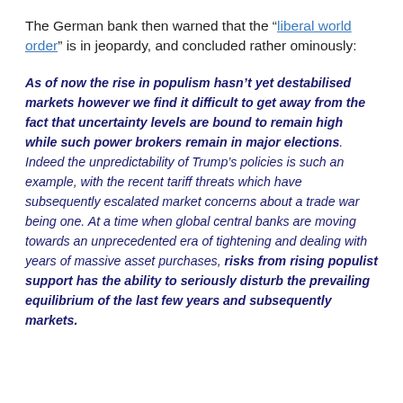The German bank then warned that the “liberal world order” is in jeopardy, and concluded rather ominously:
As of now the rise in populism hasn’t yet destabilised markets however we find it difficult to get away from the fact that uncertainty levels are bound to remain high while such power brokers remain in major elections. Indeed the unpredictability of Trump’s policies is such an example, with the recent tariff threats which have subsequently escalated market concerns about a trade war being one. At a time when global central banks are moving towards an unprecedented era of tightening and dealing with years of massive asset purchases, risks from rising populist support has the ability to seriously disturb the prevailing equilibrium of the last few years and subsequently markets.